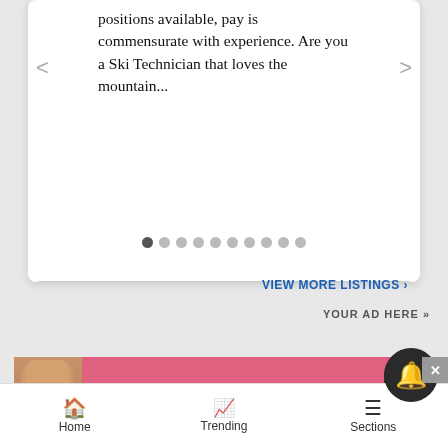positions available, pay is commensurate with experience. Are you a Ski Technician that loves the mountain...
[Figure (screenshot): Carousel pagination dots, 10 dots with first one active/dark]
VIEW MORE LISTINGS ›
YOUR AD HERE »
[Figure (photo): Victoria's Secret advertisement banner with model, VS logo, SHOP THE COLLECTION text, and SHOP NOW button]
Home  Trending  Sections